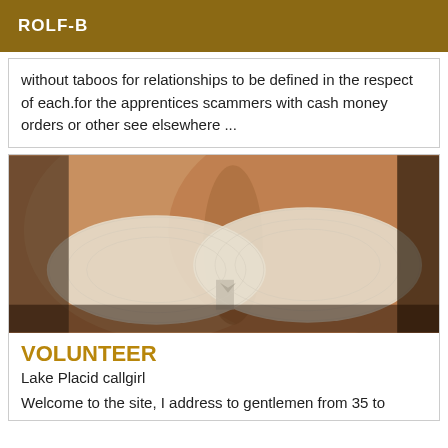ROLF-B
without taboos for relationships to be defined in the respect of each.for the apprentices scammers with cash money orders or other see elsewhere ...
[Figure (photo): Close-up photo of a person wearing a white lace bra]
VOLUNTEER
Lake Placid callgirl
Welcome to the site, I address to gentlemen from 35 to